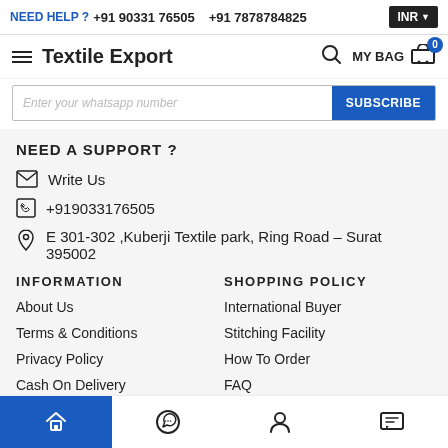NEED HELP ? +91 90331 76505  +91 7878784825  INR
Textile Export  MY BAG 0
Enter your whatsapp number  SUBSCRIBE
NEED A SUPPORT ?
Write Us
+919033176505
E 301-302 ,Kuberji Textile park, Ring Road – Surat 395002
INFORMATION
SHOPPING POLICY
About Us
International Buyer
Terms & Conditions
Stitching Facility
Privacy Policy
How To Order
Cash On Delivery
FAQ